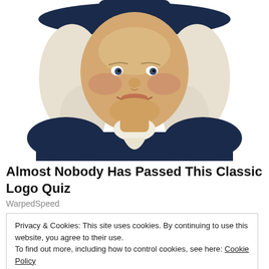[Figure (illustration): Illustration of a colonial-era man (Quaker Oats mascot) with white curly hair, dark navy coat with white ruffled collar and navy wide-brim hat, smiling, cropped at torso level.]
Almost Nobody Has Passed This Classic Logo Quiz
WarpedSpeed
Privacy & Cookies: This site uses cookies. By continuing to use this website, you agree to their use.
To find out more, including how to control cookies, see here: Cookie Policy
Close and accept